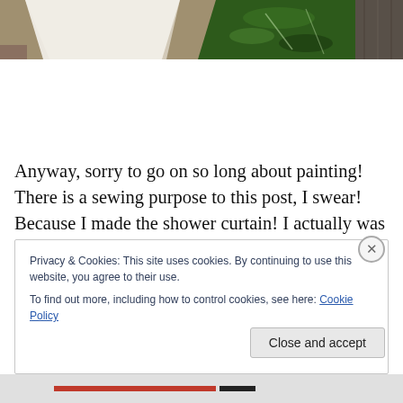[Figure (photo): Top portion of a photo showing a white lace/fabric item, a tropical green leaf wallpaper/fabric, and dark wood paneling on the right side.]
Anyway, sorry to go on so long about painting! There is a sewing purpose to this post, I swear! Because I made the shower curtain! I actually was not planning on doing this – I am perfectly happy to pay someone else (i.e., a
Privacy & Cookies: This site uses cookies. By continuing to use this website, you agree to their use.
To find out more, including how to control cookies, see here: Cookie Policy
Close and accept